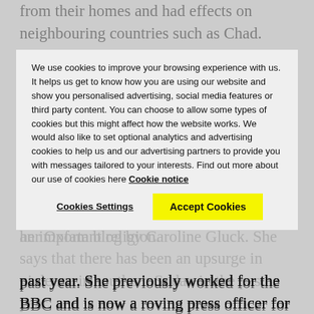from their homes and had effects on neighbouring countries such as Chad.
Nations that gained independence from the European colonial powers often had to contend with border disputes, differences in language of the people, territory covering a vast land area, is split between the north which is more Arabic and Islamic with Islam as its main religion, and a and where Christianity is an important religion.
See Sudan at a Crossroads, just posted on her Oxfam blog by Caroline Gluck. She says that there has been an upsurge in violence in southern Sudan in the past year.
We use cookies to improve your browsing experience with us. It helps us get to know how you are using our website and show you personalised advertising, social media features or third party content. You can choose to allow some types of cookies but this might affect how the website works. We would also like to set optional analytics and advertising cookies to help us and our advertising partners to provide you with messages tailored to your interests. Find out more about our use of cookies here Cookie notice
Cookies Settings
Accept Cookies
past year.  She previously worked for the BBC and is now a roving press officer for Oxfam.
The Guardian reports that more than 100 have died in recent intertribal fighting in the south of Sudan, where Nuer have attacked Dinka.